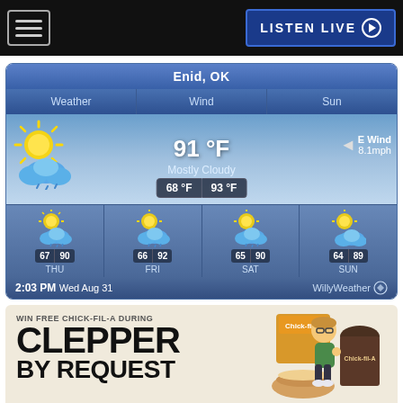LISTEN LIVE
[Figure (screenshot): Weather widget showing Enid, OK weather. Current: 91°F, Mostly Cloudy, E Wind 8.1mph. Low 68°F High 93°F. Forecast: THU 67/90, FRI 66/92, SAT 65/90, SUN 64/89. Time: 2:03 PM Wed Aug 31. WillyWeather.]
[Figure (infographic): Advertisement banner: WIN FREE CHICK-FIL-A DURING CLEPPER BY REQUEST, with cartoon avatar and Chick-fil-A food items.]